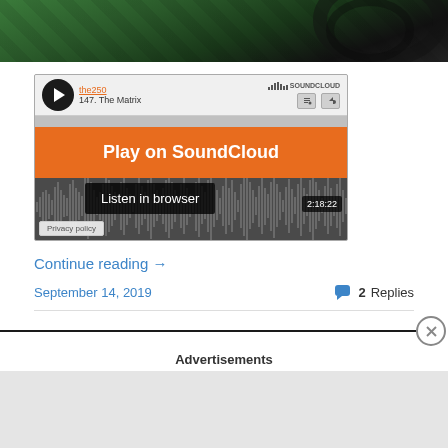[Figure (screenshot): Top portion of a webpage showing a green/dark image banner at the top]
[Figure (screenshot): SoundCloud embedded audio player widget for 'the250' track '147. The Matrix' with play overlay button, waveform, listen in browser button, duration 2:18:22, and privacy policy label]
Continue reading →
September 14, 2019
2 Replies
Advertisements
REPORT THIS AD